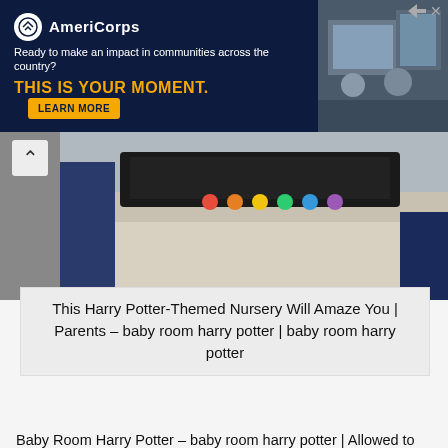[Figure (photo): AmeriCorps advertisement banner with dark navy background showing logo, tagline 'Ready to make an impact in communities across the country?', 'THIS IS YOUR MOMENT.' in yellow, a Learn More button, and image of people at computers on the right.]
[Figure (photo): Top portion of a Harry Potter themed nursery image showing colorful items on a dark surface, partially cropped. A back navigation arrow is visible on the left side.]
This Harry Potter-Themed Nursery Will Amaze You | Parents – baby room harry potter | baby room harry potter
Baby Room Harry Potter – baby room harry potter | Allowed to the blog, in this particular occasion I am going to explain to you with regards to keyword. And from now on, here is the 1st picture:
[Figure (photo): Bottom portion of a Harry Potter themed nursery room showing a hanging mobile or decoration with what appears to be the name 'Matthew' written in wooden letters on a light-colored wall.]